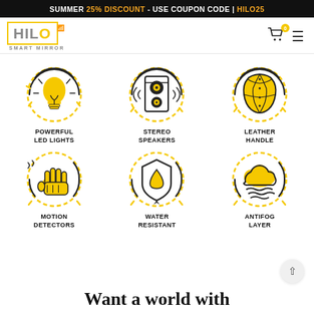SUMMER 25% DISCOUNT - USE COUPON CODE | HILO25
[Figure (logo): HILO Smart Mirror logo with yellow border and wifi icon]
[Figure (infographic): 6 feature icons in a 3x2 grid: Powerful LED Lights (lightbulb), Stereo Speakers (speaker), Leather Handle (leather icon), Motion Detectors (hand wave), Water Resistant (water drop shield), Antifog Layer (fog/cloud)]
Want a world with